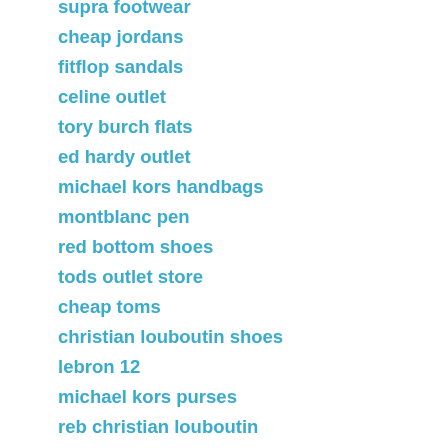supra footwear
cheap jordans
fitflop sandals
celine outlet
tory burch flats
ed hardy outlet
michael kors handbags
montblanc pen
red bottom shoes
tods outlet store
cheap toms
christian louboutin shoes
lebron 12
michael kors purses
reb christian louboutin
adidas wings
kate spade outlet
oakley sunglasses
ray ban sunglasses
tory burch shoes
michael kors outlet online
discount jordans
jordan 3s